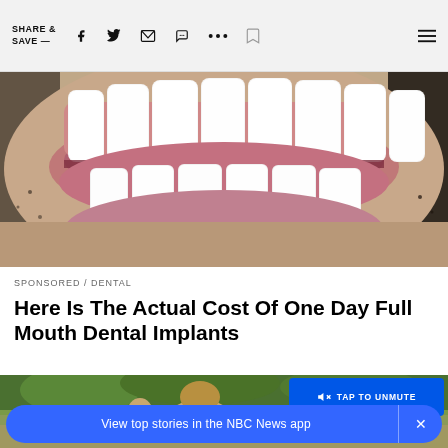SHARE & SAVE —
[Figure (photo): Close-up photo of a person's mouth showing white dental implants/teeth, with facial stubble visible]
SPONSORED / DENTAL
Here Is The Actual Cost Of One Day Full Mouth Dental Implants
[Figure (photo): Video thumbnail of a woman outdoors with trees, showing a 'TAP TO UNMUTE' button overlay and NBC News app banner]